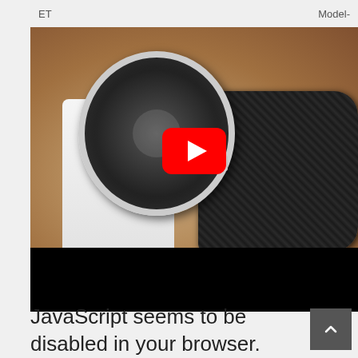[Figure (screenshot): Screenshot of a webpage showing a YouTube video embed with a watch/wrist photo. The video thumbnail shows a luxury watch with black leather strap on a wrist. A red YouTube play button overlay is centered on the image. The top bar shows partial text 'ET' on left and 'Model-' on right. Below the video thumbnail is a black bar (video controls area).]
JavaScript seems to be disabled in your browser.